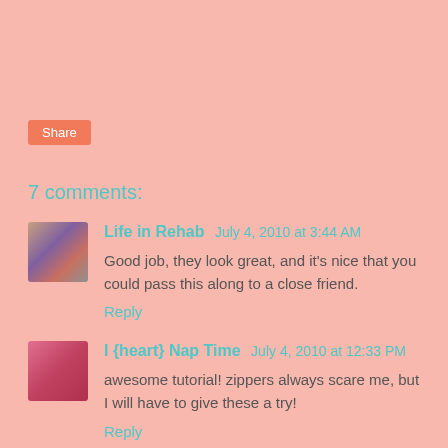Share
7 comments:
Life in Rehab   July 4, 2010 at 3:44 AM
Good job, they look great, and it's nice that you could pass this along to a close friend.
Reply
I {heart} Nap Time   July 4, 2010 at 12:33 PM
awesome tutorial! zippers always scare me, but I will have to give these a try!
Reply